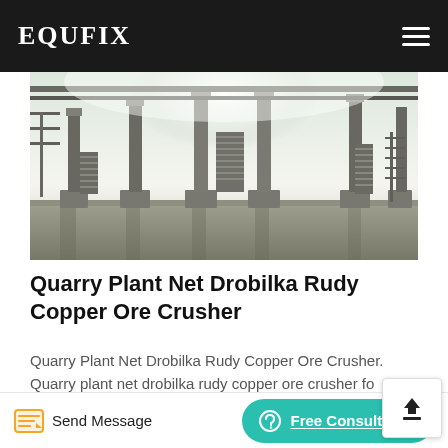EQUFIX
[Figure (photo): Industrial quarry plant interior showing large concrete support columns, metal staircases, and structural framework under bright overhead lighting]
Quarry Plant Net Drobilka Rudy Copper Ore Crusher
Quarry Plant Net Drobilka Rudy Copper Ore Crusher. Quarry plant net drobilka rudy copper ore crusher for each project scheme design we will use professional knowledge to help you carefully listen to your demands respect your opinions and use our professional teams